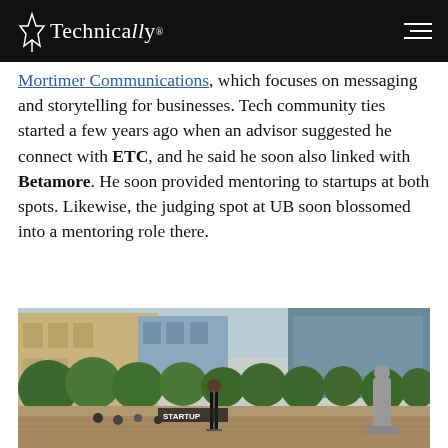Technically
Mortimer Communications, which focuses on messaging and storytelling for businesses. Tech community ties started a few years ago when an advisor suggested he connect with ETC, and he said he soon also linked with Betamore. He soon provided mentoring to startups at both spots. Likewise, the judging spot at UB soon blossomed into a mentoring role there.
[Figure (photo): Outdoor urban plaza scene with trees, buildings in the background, a person standing at a microphone podium, and a statue on the right. Brick paving on the ground. Banner or sign partially visible reading 'STARTUP'.]